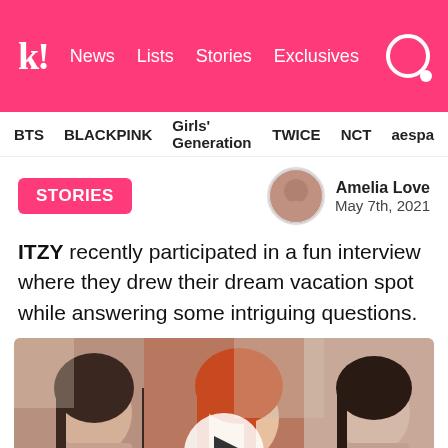k! News Lists Stories Exclusives
BTS BLACKPINK Girls' Generation TWICE NCT aespa
STORIES
Amelia Love
May 7th, 2021
ITZY recently participated in a fun interview where they drew their dream vacation spot while answering some intriguing questions.
[Figure (photo): Video thumbnail showing three ITZY members seated, with a play button overlay in the center. The member on the left has dark hair, the center member has bright red/orange hair in a black and white outfit, and the right member has dark hair.]